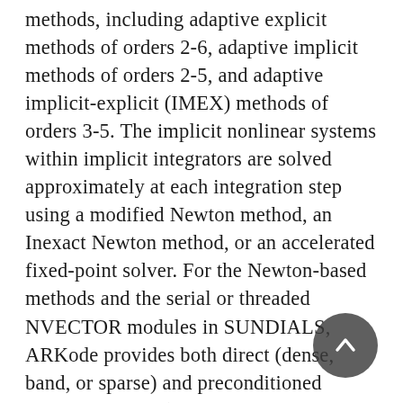methods, including adaptive explicit methods of orders 2-6, adaptive implicit methods of orders 2-5, and adaptive implicit-explicit (IMEX) methods of orders 3-5. The implicit nonlinear systems within implicit integrators are solved approximately at each integration step using a modified Newton method, an Inexact Newton method, or an accelerated fixed-point solver. For the Newton-based methods and the serial or threaded NVECTOR modules in SUNDIALS, ARKode provides both direct (dense, band, or sparse) and preconditioned Krylov iterative (GMRES, BiCGStab, TFQMR, FGMRES, PCG) linear solvers. When used with one of the distributed parallel NVECTOR modules, including PETSc and hypre vectors, or a user-provided vector data structure, only the Krylov solvers are available, although a user may supply their own linear solver for any data structures if desired. For the serial vector structure,